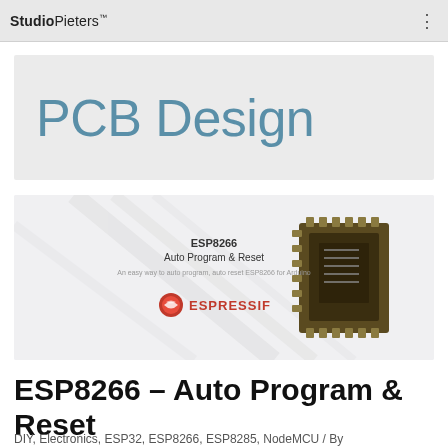StudioPieters™
PCB Design
[Figure (photo): ESP8266 Auto Program & Reset article thumbnail showing an ESP8266 module and a text label with Espressif logo on a light grey geometric background]
ESP8266 – Auto Program & Reset
DIY, Electronics, ESP32, ESP8266, ESP8285, NodeMCU / By